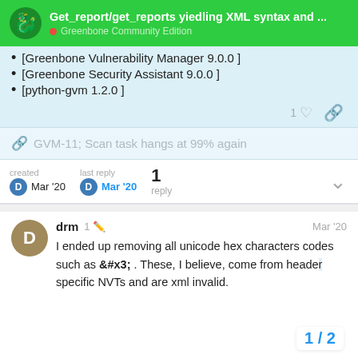Get_report/get_reports yiedling XML syntax and ... — Greenbone Community Edition
[Greenbone Vulnerability Manager 9.0.0 ]
[Greenbone Security Assistant 9.0.0 ]
[python-gvm 1.2.0 ]
GVM-11; Scan task hangs at 99% again
created Mar '20   last reply Mar '20   1 reply
drm  1  Mar '20
I ended up removing all unicode hex characters codes such as &#x3; . These, I believe, come from header specific NVTs and are xml invalid.
1 / 2